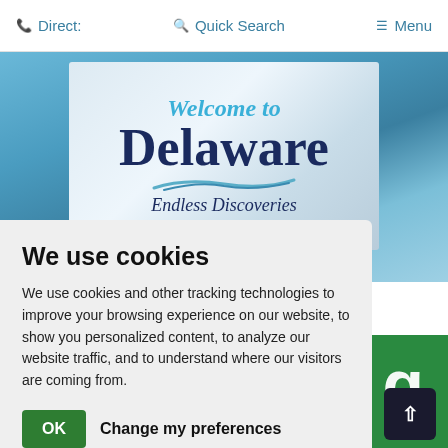Direct:    Quick Search    Menu
[Figure (photo): Welcome to Delaware Endless Discoveries sign against a blue sky background]
We use cookies
We use cookies and other tracking technologies to improve your browsing experience on our website, to show you personalized content, to analyze our website traffic, and to understand where our visitors are coming from.
OK   Change my preferences